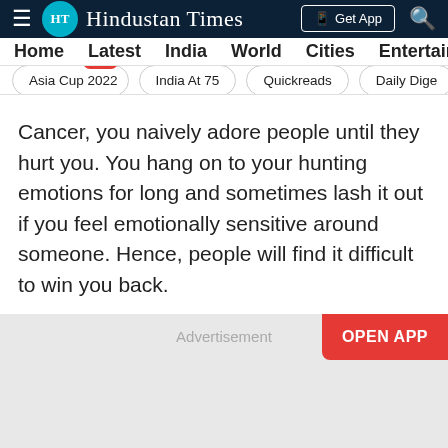Hindustan Times
Home | Latest | India | World | Cities | Entertainment
Asia Cup 2022 NEW | India At 75 | Quickreads | Daily Digest
Cancer, you naively adore people until they hurt you. You hang on to your hunting emotions for long and sometimes lash it out if you feel emotionally sensitive around someone. Hence, people will find it difficult to win you back.
[Figure (other): Advertisement placeholder block with 'OPEN APP' button in red]